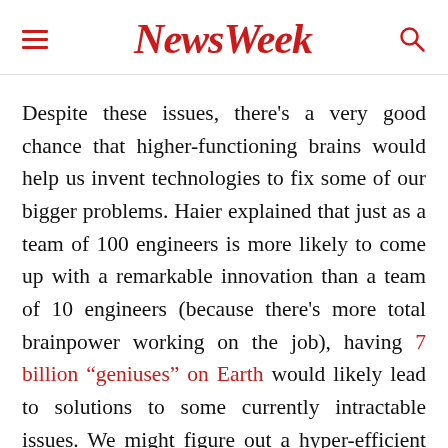NewsWeek
Despite these issues, there's a very good chance that higher-functioning brains would help us invent technologies to fix some of our bigger problems. Haier explained that just as a team of 100 engineers is more likely to come up with a remarkable innovation than a team of 10 engineers (because there's more total brainpower working on the job), having 7 billion “geniuses” on Earth would likely lead to solutions to some currently intractable issues. We might figure out a hyper-efficient way to desalinate saltwater, for example, or tap into a limitless alternative-energy source.